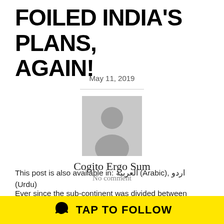FOILED INDIA'S PLANS, AGAIN!
May 11, 2019
[Figure (illustration): Generic grey avatar/profile placeholder image showing a silhouette of a person]
Cogito Ergo Sum
No comment
This post is also available in: العربية (Arabic), اردو (Urdu)
Ever since the sub-continent was divided between Pakistan and India, both countries have remained daggers drawn at each other. From 1948 to the incumbent setups,
[Figure (other): Yellow Snapchat banner at the bottom with ghost icon and text TAP TO FOLLOW]